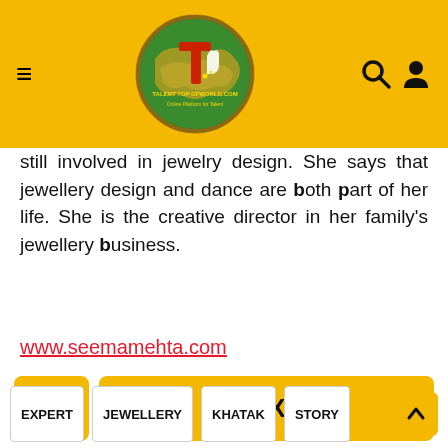Talent Top of World - Online Platform for Talent
still involved in jewelry design. She says that jewellery design and dance are both part of her life. She is the creative director in her family's jewellery business.
www.seemamehta.com
< NEXT >
EXPERT  JEWELLERY  KHATAK  STORY